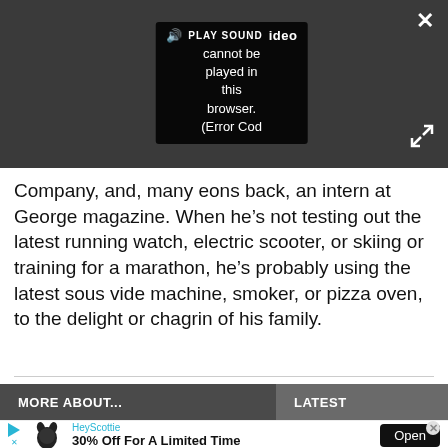[Figure (screenshot): Video player overlay on dark grey background showing a sound icon with PLAY SOUND label and error message: 'Video cannot be played in this browser. (Error Cod' — with close X button and expand/fullscreen button]
Company, and, many eons back, an intern at George magazine. When he’s not testing out the latest running watch, electric scooter, or skiing or training for a marathon, he’s probably using the latest sous vide machine, smoker, or pizza oven, to the delight or chagrin of his family.
MORE ABOUT...
LATEST
[Figure (infographic): HeyScottie advertisement banner: dog logo, '30% Off For A Limited Time' offer text, Open button]